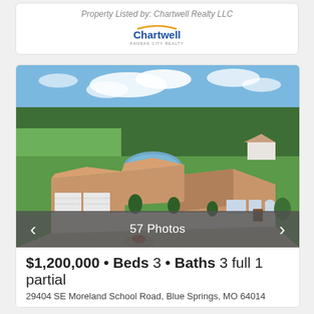Property Listed by: Chartwell Realty LLC
[Figure (logo): Chartwell Kansas City Realty logo with blue text and yellow/orange arc]
[Figure (photo): Aerial drone photo of a large single-story home with brown/tan hip roof, attached garage, circular driveway, pond behind the house, surrounded by green lawn and trees. Blue sky with white clouds.]
57 Photos
$1,200,000 · Beds 3 · Baths 3 full 1 partial
29404 SE Moreland School Road, Blue Springs, MO 64014